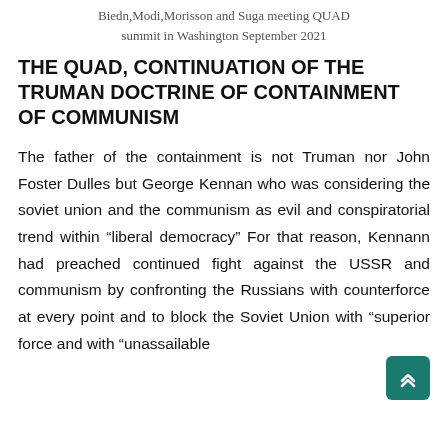Biedn,Modi,Morisson and Suga meeting QUAD summit in Washington September 2021
THE QUAD, CONTINUATION OF THE TRUMAN DOCTRINE OF CONTAINMENT OF COMMUNISM
The father of the containment is not Truman nor John Foster Dulles but George Kennan who was considering the soviet union and the communism as evil and conspiratorial trend within “liberal democracy” For that reason, Kennann had preached continued fight against the USSR and communism by confronting the Russians with counterforce at every point and to block the Soviet Union with “superior force and with “unassailable